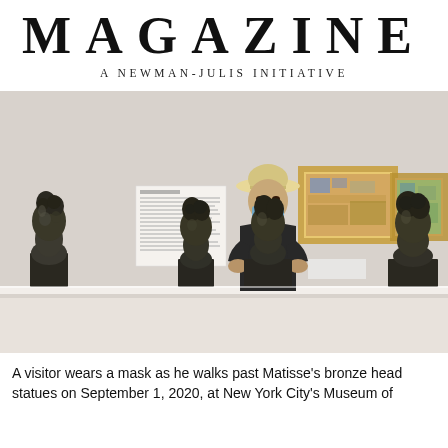MAGAZINE
A NEWMAN-JULIS INITIATIVE
[Figure (photo): A museum visitor wearing a white hat, black t-shirt, and blue face mask stands among four dark bronze head bust sculptures on a white display table. Behind him are two framed colorful paintings on a white gallery wall, and a white informational placard. The setting is a museum gallery.]
A visitor wears a mask as he walks past Matisse's bronze head statues on September 1, 2020, at New York City's Museum of